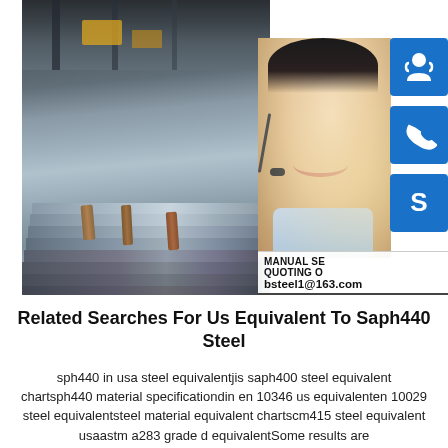[Figure (photo): Composite image: stacked steel plates in an industrial factory setting on the left, a customer service woman with headset on the right, with three blue icon buttons (support, phone, Skype) on the far right, and overlay text showing 'MANUAL SE...', 'QUOTING O...', and 'bsteel1@163.com']
Related Searches For Us Equivalent To Saph440 Steel
sph440 in usa steel equivalentjis saph400 steel equivalent chartsph440 material specificationdin en 10346 us equivalenten 10029 steel equivalentsteel material equivalent chartscm415 steel equivalent usaastm a283 grade d equivalentSome results are